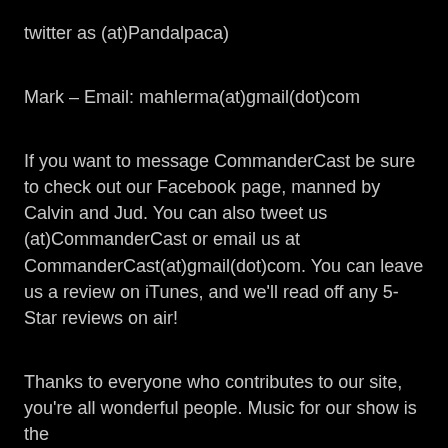twitter as (at)Pandalpaca)
Mark – Email: mahlerma(at)gmail(dot)com
If you want to message CommanderCast be sure to check out our Facebook page, manned by Calvin and Jud. You can also tweet us (at)CommanderCast or email us at CommanderCast(at)gmail(dot)com. You can leave us a review on iTunes, and we'll read off any 5-Star reviews on air!
Thanks to everyone who contributes to our site, you're all wonderful people. Music for our show is the